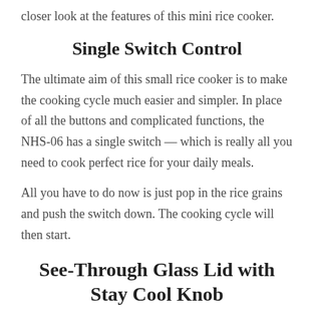closer look at the features of this mini rice cooker.
Single Switch Control
The ultimate aim of this small rice cooker is to make the cooking cycle much easier and simpler. In place of all the buttons and complicated functions, the NHS-06 has a single switch — which is really all you need to cook perfect rice for your daily meals.
All you have to do now is just pop in the rice grains and push the switch down. The cooking cycle will then start.
See-Through Glass Lid with Stay Cool Knob